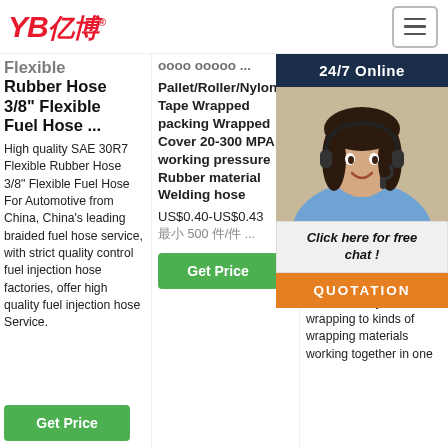[Figure (logo): YB亿博 logo in red italic bold text with registered trademark symbol]
[Figure (illustration): Hamburger menu icon (three horizontal lines) inside a square border]
Flexible Rubber Hose 3/8" Flexible Fuel Hose ...
High quality SAE 30R7 Flexible Rubber Hose 3/8" Flexible Fuel Hose For Automotive from China, China's leading braided fuel hose service, with strict quality control fuel injection hose factories, offer high quality fuel injection hose Service.
Pallet/Roller/Nylon Tape Wrapped packing Wrapped Cover 20-300 MPA working pressure Rubber material Welding hose
US$0.40-US$0.43
最小 500 件/件 ...
Wrapping Machine/S Pa ...
201 24u Fric cov poly mac mou Car protective roller wrapped with wear-resisting rubber. 11. Synchronous wrapping to kinds of wrapping materials working together in one
[Figure (photo): Customer service agent woman with headset smiling, chat overlay widget with 24/7 Online label, Click here for free chat bubble, and QUOTATION orange button]